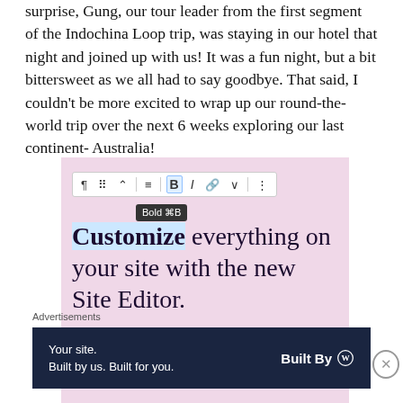surprise, Gung, our tour leader from the first segment of the Indochina Loop trip, was staying in our hotel that night and joined up with us! It was a fun night, but a bit bittersweet as we all had to say goodbye. That said, I couldn't be more excited to wrap up our round-the-world trip over the next 6 weeks exploring our last continent- Australia!
Advertisements
[Figure (screenshot): WordPress advertisement showing a pink background with toolbar UI, 'Customize everything on your site with the new Site Editor.' text and a 'Start Today' button]
Advertisements
[Figure (screenshot): WordPress advertisement with dark navy background: 'Your site. Built by us. Built for you.' with 'Built By' WordPress logo on the right]